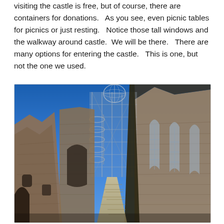visiting the castle is free, but of course, there are containers for donations.   As you see, even picnic tables for picnics or just resting.   Notice those tall windows and the walkway around castle.  We will be there.   There are many options for entering the castle.   This is one, but not the one we used.
[Figure (photo): Upward-looking photo of a ruined stone castle with modern metal scaffolding, a spherical wire structure at the top, tall Gothic-arched windows, a steep central staircase leading upward, and a bright blue sky in the background.]